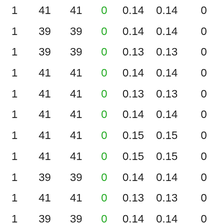| 1 | 41 | 41 | 0 | 0.14 | 0.14 | 0 |
| 1 | 39 | 39 | 0 | 0.14 | 0.14 | 0 |
| 1 | 39 | 39 | 0 | 0.13 | 0.13 | 0 |
| 1 | 41 | 41 | 0 | 0.14 | 0.14 | 0 |
| 1 | 41 | 41 | 0 | 0.13 | 0.13 | 0 |
| 1 | 41 | 41 | 0 | 0.14 | 0.14 | 0 |
| 1 | 41 | 41 | 0 | 0.15 | 0.15 | 0 |
| 1 | 41 | 41 | 0 | 0.15 | 0.15 | 0 |
| 1 | 39 | 39 | 0 | 0.14 | 0.14 | 0 |
| 1 | 41 | 41 | 0 | 0.13 | 0.13 | 0 |
| 1 | 39 | 39 | 0 | 0.14 | 0.14 | 0 |
| 1 | 43 | 43 | 0 | 0.15 | 0.15 | 0 |
| 1 | 43 | 43 | 0 | 0.13 | 0.13 | 0 |
| 1 | 39 | 39 | 0 | 0.14 | 0.14 | 0 |
| 1 | 39 | 39 | 0 | 0.14 | 0.14 | 0 |
| 1 | 39 | 39 | 0 | 0.14 | 0.14 | 0 |